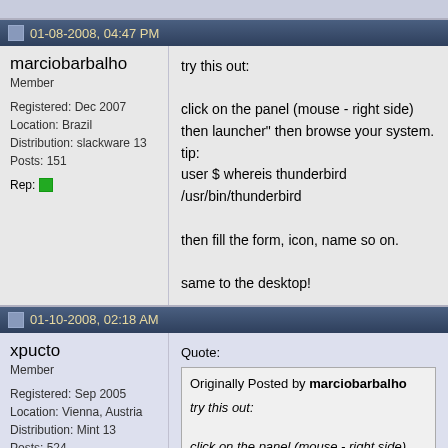01-08-2008, 04:47 PM
marciobarbalho
Member
Registered: Dec 2007
Location: Brazil
Distribution: slackware 13
Posts: 151
Rep:
try this out:

click on the panel (mouse - right side) then launcher" then browse your system.
tip:
user $ whereis thunderbird
/usr/bin/thunderbird

then fill the form, icon, name so on.

same to the desktop!
01-10-2008, 02:18 AM
xpucto
Member
Registered: Sep 2005
Location: Vienna, Austria
Distribution: Mint 13
Posts: 524
Original Poster
Rep:
Quote:
Originally Posted by marciobarbalho
try this out:

click on the panel (mouse - right side) launcher" then browse your system.
tip:
user $ whereis thunderbird
/usr/bin/thunderbird

then fill the form, icon, name so on.